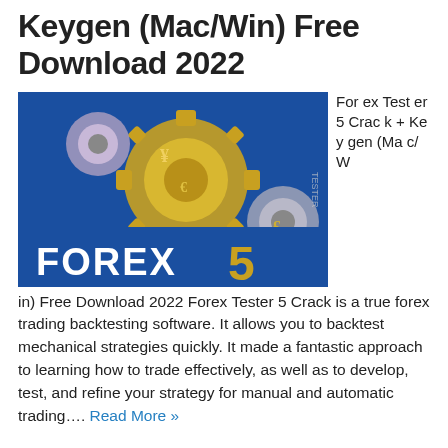Keygen (Mac/Win) Free Download 2022
[Figure (photo): Forex Tester 5 software box art showing golden gears and 'FOREX 5' text on blue background]
Forex Tester 5 Crack + Keygen (Mac/Win) Free Download 2022 Forex Tester 5 Crack is a true forex trading backtesting software. It allows you to backtest mechanical strategies quickly. It made a fantastic approach to learning how to trade effectively, as well as to develop, test, and refine your strategy for manual and automatic trading.... Read More »